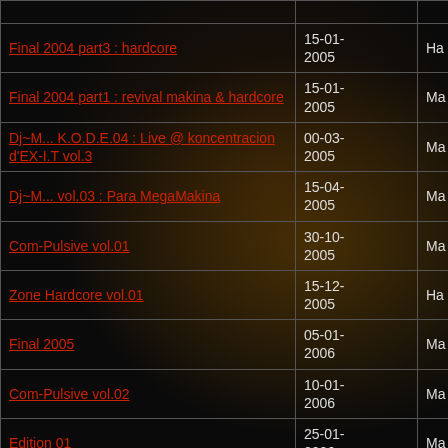| Title | Date | Type |
| --- | --- | --- |
| Final 2004 part3 : hardcore | 15-01-2005 | Ha... |
| Final 2004 part1 : revival makina & hardcore | 15-01-2005 | Ma... |
| Dj~M... K.O.D.E.04 : Live @ koncentracion d'EX-I.T vol.3 | 00-03-2005 | Ma... |
| Dj~M... vol.03 : Para MegaMakina | 15-04-2005 | Ma... |
| Com-Pulsive vol.01 | 30-10-2005 | Ma... |
| Zone Hardcore vol.01 | 15-12-2005 | Ha... |
| Final 2005 | 05-01-2006 | Ma... |
| Com-Pulsive vol.02 | 10-01-2006 | Ma... |
| Edition 01 | 25-01-2006 | Ma... |
| Edition 02 | 15-06-2006 | Ma... |
| Com-Pulsive vol.03 | 20-10-... | Ma... |